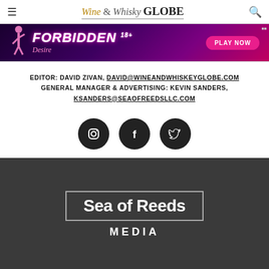Wine & Whisky GLOBE
[Figure (photo): Advertisement banner for 'Forbidden Desire 18+' with a PLAY NOW button, dark purple/magenta gradient background with a silhouetted figure.]
EDITOR: DAVID ZIVAN, DAVID@WINEANDWHISKEYGLOBE.COM
GENERAL MANAGER & ADVERTISING: KEVIN SANDERS, KSANDERS@SEAOFREEDSLLC.COM
[Figure (illustration): Three dark circular social media icon buttons: Instagram, Facebook, Twitter]
[Figure (logo): Sea of Reeds MEDIA logo in white text on dark gray background, with a rectangular border around 'Sea of Reeds']